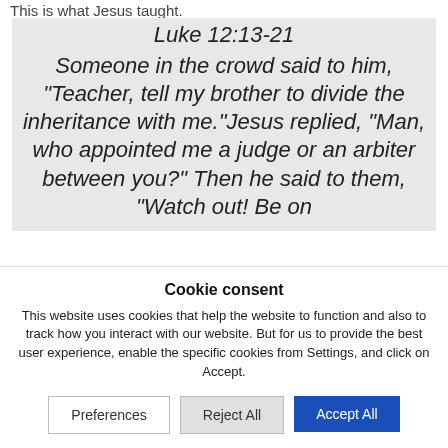This is what Jesus taught.
Luke 12:13-21
Someone in the crowd said to him, “Teacher, tell my brother to divide the inheritance with me.”Jesus replied, “Man, who appointed me a judge or an arbiter between you?” Then he said to them, “Watch out! Be on
Cookie consent
This website uses cookies that help the website to function and also to track how you interact with our website. But for us to provide the best user experience, enable the specific cookies from Settings, and click on Accept.
Preferences
Reject All
Accept All